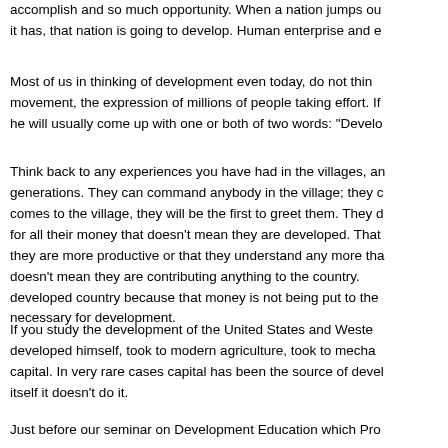accomplish and so much opportunity. When a nation jumps out of the rut it has, that nation is going to develop. Human enterprise and en...
Most of us in thinking of development even today, do not think of movement, the expression of millions of people taking effort. If he will usually come up with one or both of two words: "Develo...
Think back to any experiences you have had in the villages, an... generations. They can command anybody in the village; they comes to the village, they will be the first to greet them. They d for all their money that doesn't mean they are developed. That they are more productive or that they understand any more tha doesn't mean they are contributing anything to the country. developed country because that money is not being put to the necessary for development.
If you study the development of the United States and Weste... developed himself, took to modern agriculture, took to mecha... capital. In very rare cases capital has been the source of devel... itself it doesn't do it.
Just before our seminar on Development Education which Pro...